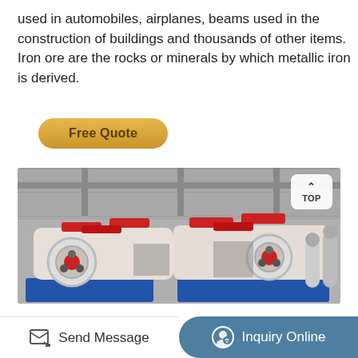used in automobiles, airplanes, beams used in the construction of buildings and thousands of other items. Iron ore are the rocks or minerals by which metallic iron is derived.
[Figure (other): A golden/tan rounded rectangle button labeled 'Free Quote']
[Figure (photo): Industrial machinery — large white and red roller/crusher machines on blue bases inside a factory building with concrete walls.]
Send Message | Inquiry Online